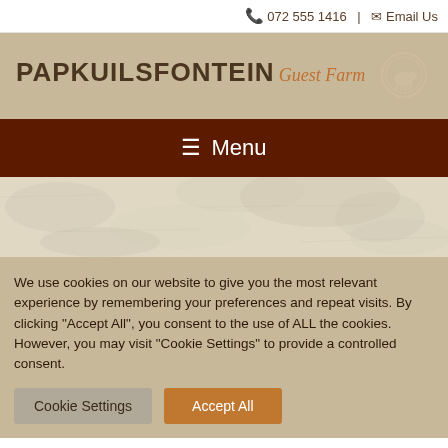072 555 1416 | Email Us
[Figure (logo): Papkuilsfontein Guest Farm logo with text and circular icon]
Menu
[Figure (illustration): Stone/rock texture background area]
We use cookies on our website to give you the most relevant experience by remembering your preferences and repeat visits. By clicking "Accept All", you consent to the use of ALL the cookies. However, you may visit "Cookie Settings" to provide a controlled consent.
Cookie Settings | Accept All